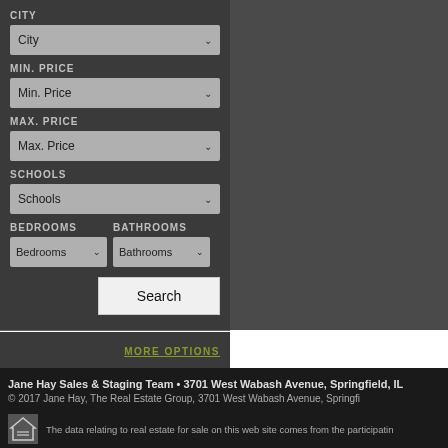CITY
City (dropdown)
MIN. PRICE
Min. Price (dropdown)
MAX. PRICE
Max. Price (dropdown)
SCHOOLS
Schools (dropdown)
BEDROOMS
BATHROOMS
Bedrooms (dropdown)
Bathrooms (dropdown)
Search
MORE OPTIONS
Jane Hay Sales & Staging Team • 3701 West Wabash Avenue, Springfield, IL
© 2017 Jane Hay, The Real Estate Group, 3701 West Wabash Avenue, Springfi
The data relating to real estate for sale on this web site comes from the participatin